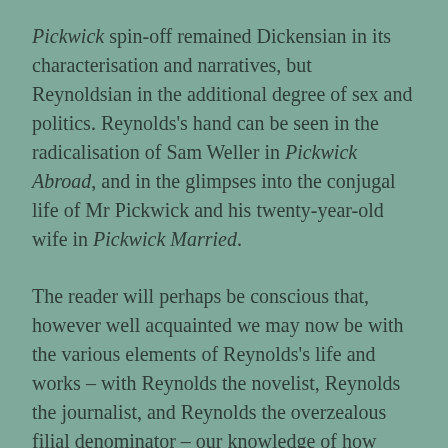Pickwick spin-off remained Dickensian in its characterisation and narratives, but Reynoldsian in the additional degree of sex and politics. Reynolds's hand can be seen in the radicalisation of Sam Weller in Pickwick Abroad, and in the glimpses into the conjugal life of Mr Pickwick and his twenty-year-old wife in Pickwick Married.
The reader will perhaps be conscious that, however well acquainted we may now be with the various elements of Reynolds's life and works – with Reynolds the novelist, Reynolds the journalist, and Reynolds the overzealous filial denominator – our knowledge of how these elements converged and manifested themselves in Reynolds the man remains indeterminate. The task of Reynoldsian resurrectionist fell to